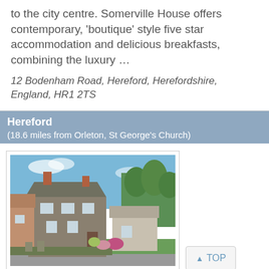to the city centre. Somerville House offers contemporary, 'boutique' style five star accommodation and delicious breakfasts, combining the luxury …
12 Bodenham Road, Hereford, Herefordshire, England, HR1 2TS
Hereford
(18.6 miles from Orleton, St George's Church)
[Figure (photo): Exterior photo of a stone/brick house with chimneys, surrounded by trees and garden, under a blue sky]
TOP